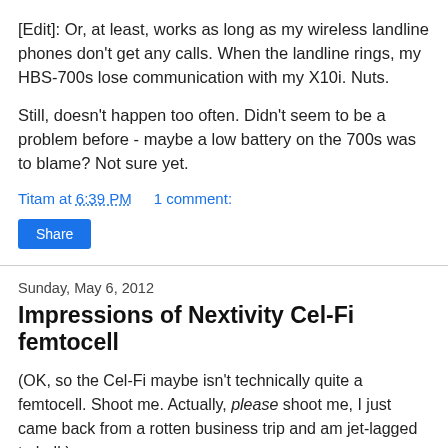[Edit]:  Or, at least, works as long as my wireless landline phones don't get any calls.  When the landline rings, my HBS-700s lose communication with my X10i.  Nuts.
Still, doesn't happen too often.  Didn't seem to be a problem before - maybe a low battery on the 700s was to blame?  Not sure yet.
Titam at 6:39 PM    1 comment:
Share
Sunday, May 6, 2012
Impressions of Nextivity Cel-Fi femtocell
(OK, so the Cel-Fi maybe isn't technically quite a femtocell.  Shoot me.  Actually, please shoot me, I just came back from a rotten business trip and am jet-lagged to hell.)
Every review I've read on the Cel-Fi sounds the same: